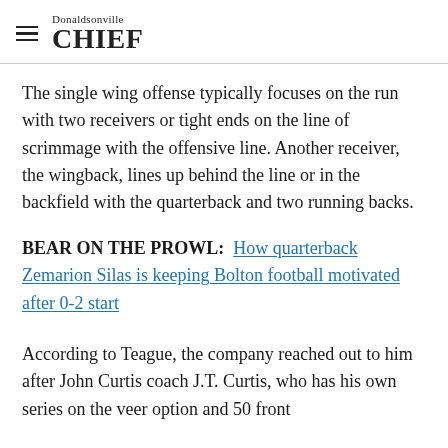Donaldsonville CHIEF
The single wing offense typically focuses on the run with two receivers or tight ends on the line of scrimmage with the offensive line. Another receiver, the wingback, lines up behind the line or in the backfield with the quarterback and two running backs.
BEAR ON THE PROWL:  How quarterback Zemarion Silas is keeping Bolton football motivated after 0-2 start
According to Teague, the company reached out to him after John Curtis coach J.T. Curtis, who has his own series on the veer option and 50 front